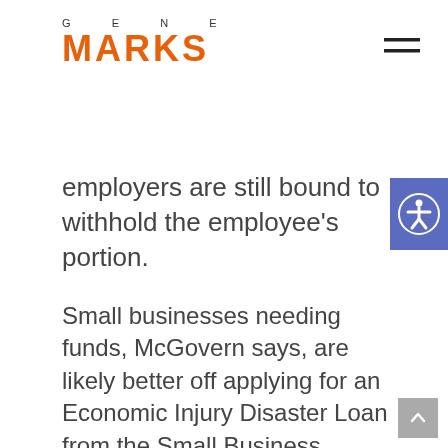GENE MARKS
employers are still bound to withhold the employee's portion.
Small businesses needing funds, McGovern says, are likely better off applying for an Economic Injury Disaster Loan from the Small Business Administration, which are at a fixed interest rate of 3.75% and paid back over 30 years.